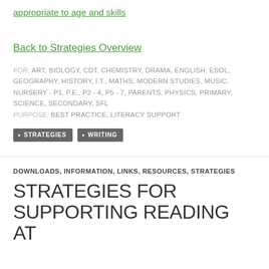appropriate to age and skills
Back to Strategies Overview
FOR: ART, BIOLOGY, CDT, CHEMISTRY, DRAMA, ENGLISH, ESOL, GEOGRAPHY, HISTORY, I.T., MATHS, MODERN STUDIES, MUSIC, NURSERY - P1, P.E., P2 - 4, P5 - 7, PARENTS, PHYSICS, PRIMARY, SCIENCE, SECONDARY, SFL
PURPOSE: BEST PRACTICE, LITERACY SUPPORT
• STRATEGIES  • WRITING
DOWNLOADS, INFORMATION, LINKS, RESOURCES, STRATEGIES
STRATEGIES FOR SUPPORTING READING AT